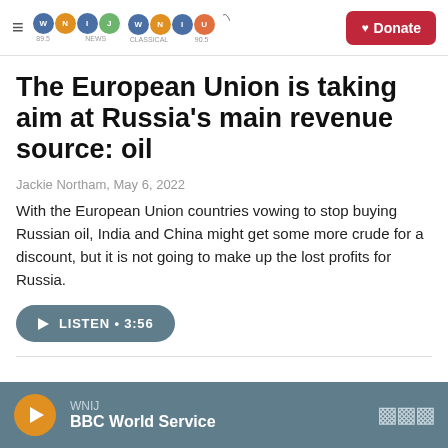WNIJ NEWS | WNIU CLASSICAL | Donate
The European Union is taking aim at Russia's main revenue source: oil
Jackie Northam, May 6, 2022
With the European Union countries vowing to stop buying Russian oil, India and China might get some more crude for a discount, but it is not going to make up the lost profits for Russia.
LISTEN • 3:56
WNIJ BBC World Service